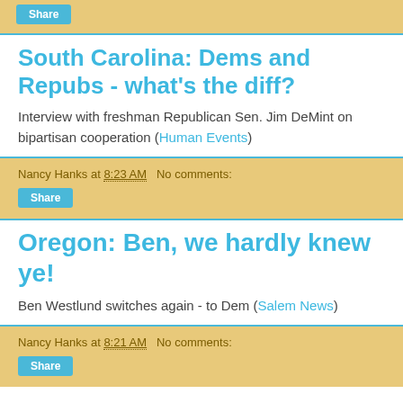Share
South Carolina: Dems and Repubs - what's the diff?
Interview with freshman Republican Sen. Jim DeMint on bipartisan cooperation (Human Events)
Nancy Hanks at 8:23 AM   No comments:
Share
Oregon: Ben, we hardly knew ye!
Ben Westlund switches again - to Dem (Salem News)
Nancy Hanks at 8:21 AM   No comments:
Share